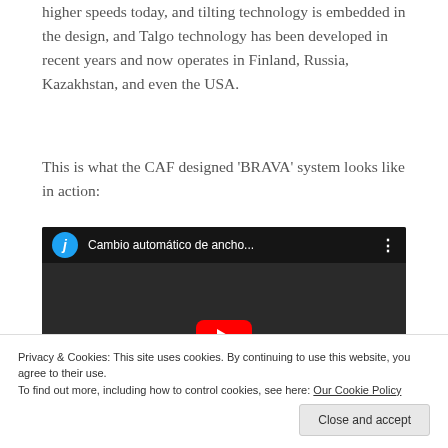higher speeds today, and tilting technology is embedded in the design, and Talgo technology has been developed in recent years and now operates in Finland, Russia, Kazakhstan, and even the USA.
This is what the CAF designed 'BRAVA' system looks like in action:
[Figure (screenshot): Embedded YouTube video thumbnail showing machinery (automatic gauge changing system). Top bar shows avatar 'j', title 'Cambio automático de ancho...', and three-dot menu. Red YouTube play button centered over dark machinery background.]
Privacy & Cookies: This site uses cookies. By continuing to use this website, you agree to their use.
To find out more, including how to control cookies, see here: Our Cookie Policy